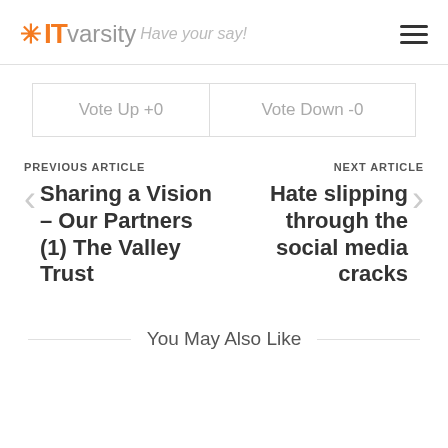*IT varsity Have your say!
| Vote Up +0 | Vote Down -0 |
PREVIOUS ARTICLE
< Sharing a Vision – Our Partners (1) The Valley Trust
NEXT ARTICLE
Hate slipping through the social media cracks >
You May Also Like